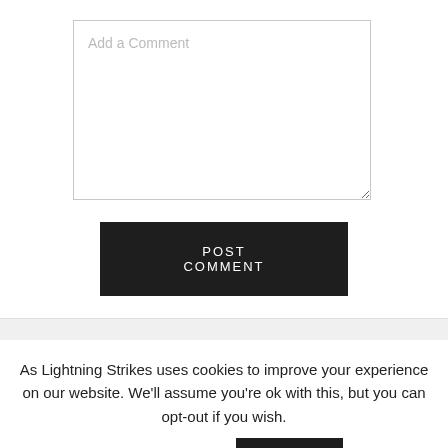[Figure (screenshot): A textarea input field with placeholder text 'Add a Comment']
POST COMMENT
As Lightning Strikes uses cookies to improve your experience on our website. We'll assume you're ok with this, but you can opt-out if you wish.
Cookie settings
ACCEPT